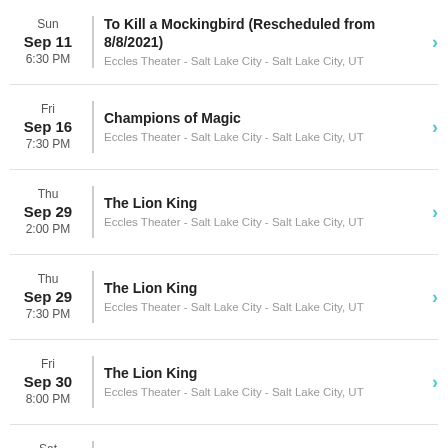Sun Sep 11 6:30 PM | To Kill a Mockingbird (Rescheduled from 8/8/2021) | Eccles Theater - Salt Lake City - Salt Lake City, UT
Fri Sep 16 7:30 PM | Champions of Magic | Eccles Theater - Salt Lake City - Salt Lake City, UT
Thu Sep 29 2:00 PM | The Lion King | Eccles Theater - Salt Lake City - Salt Lake City, UT
Thu Sep 29 7:30 PM | The Lion King | Eccles Theater - Salt Lake City - Salt Lake City, UT
Fri Sep 30 8:00 PM | The Lion King | Eccles Theater - Salt Lake City - Salt Lake City, UT
Sat Oct 1 2:00 PM | The Lion King | Eccles Theater - Salt Lake City - Salt Lake City, UT